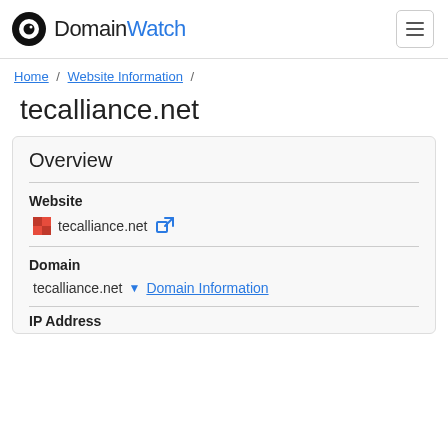DomainWatch
Home / Website Information /
tecalliance.net
Overview
Website
tecalliance.net [external link icon]
Domain
tecalliance.net ▼ Domain Information
IP Address